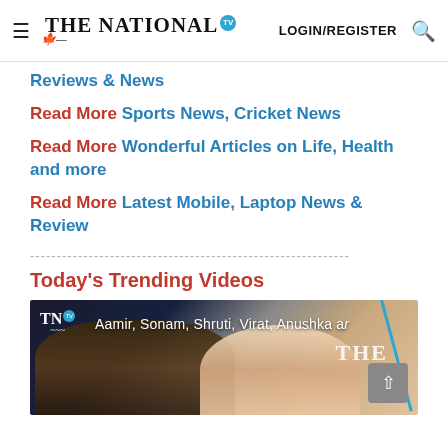The National TV — LOGIN/REGISTER
Reviews & News
Read More Sports News, Cricket News
Read More Wonderful Articles on Life, Health and more
Read More Latest Mobile, Laptop News & Review
------------------------------------------------------------
Today's Trending Videos
[Figure (screenshot): Video thumbnail showing Aamir, Sonam, Shruti, Virat, Anushka and others with The National TV logo overlay]